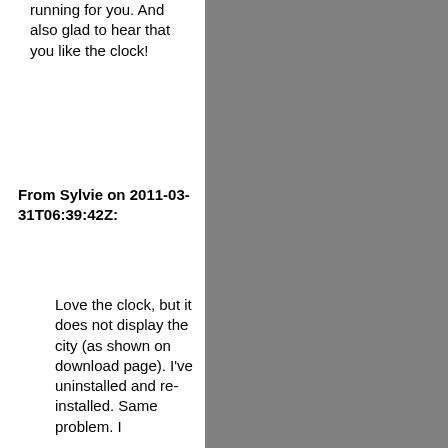running for you. And also glad to hear that you like the clock!
From Sylvie on 2011-03-31T06:39:42Z:
Love the clock, but it does not display the city (as shown on download page). I've uninstalled and re-installed. Same problem. I